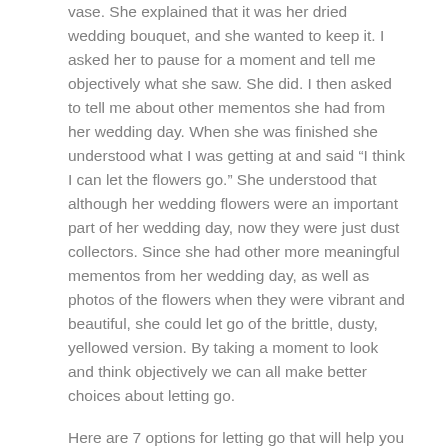vase. She explained that it was her dried wedding bouquet, and she wanted to keep it. I asked her to pause for a moment and tell me objectively what she saw. She did. I then asked to tell me about other mementos she had from her wedding day. When she was finished she understood what I was getting at and said “I think I can let the flowers go.” She understood that although her wedding flowers were an important part of her wedding day, now they were just dust collectors. Since she had other more meaningful mementos from her wedding day, as well as photos of the flowers when they were vibrant and beautiful, she could let go of the brittle, dusty, yellowed version. By taking a moment to look and think objectively we can all make better choices about letting go.
Here are 7 options for letting go that will help you keep the memories but not the stuff.